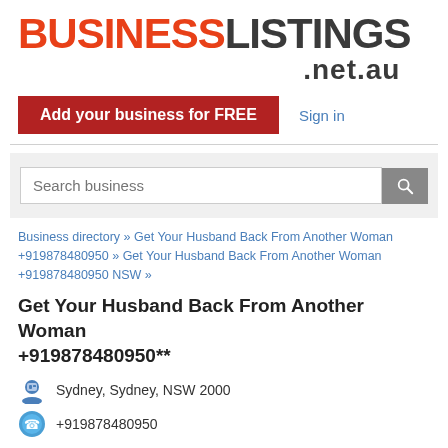BUSINESSLISTINGS .net.au
Add your business for FREE
Sign in
Search business
Business directory » Get Your Husband Back From Another Woman +919878480950 » Get Your Husband Back From Another Woman +919878480950 NSW »
Get Your Husband Back From Another Woman +919878480950**
Sydney, Sydney, NSW 2000
+919878480950
Aghori Guruji
http://www.blackmagicvashikaran.wordpress.com